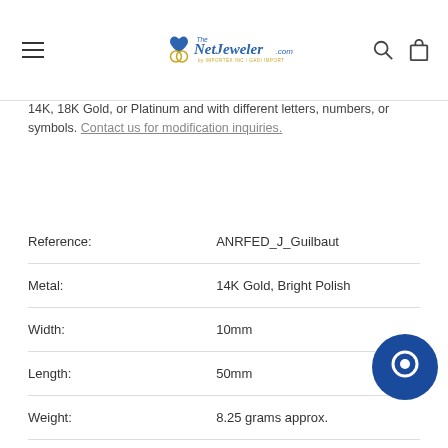The NetJeweler.com by IMPORTEX INC / GADI IMPORT
14K, 18K Gold, or Platinum and with different letters, numbers, or symbols. Contact us for modification inquiries.
| Field | Value |
| --- | --- |
| Reference: | ANRFED_J_Guilbaut |
| Metal: | 14K Gold, Bright Polish |
| Width: | 10mm |
| Length: | 50mm |
| Weight: | 8.25 grams approx. |
| Diamond Shape / Cut: | Round / Brilliant |